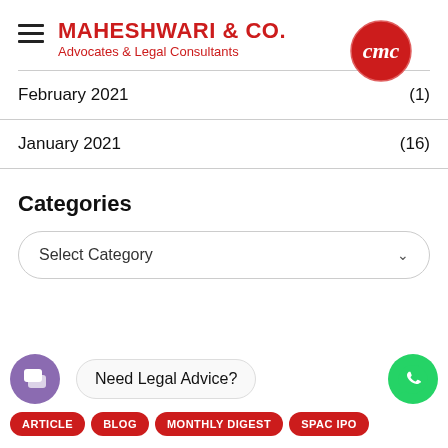[Figure (logo): Maheshwari & Co. logo with hamburger menu icon, brand name in red, and circular CMC logo mark]
February 2021 (1)
January 2021 (16)
Categories
Select Category
Need Legal Advice?
ARTICLE  BLOG  MONTHLY DIGEST  SPAC IPO